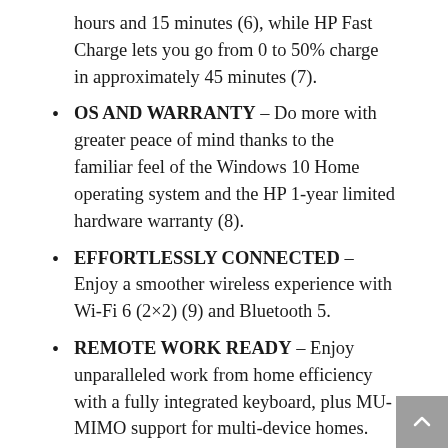hours and 15 minutes (6), while HP Fast Charge lets you go from 0 to 50% charge in approximately 45 minutes (7).
OS AND WARRANTY – Do more with greater peace of mind thanks to the familiar feel of the Windows 10 Home operating system and the HP 1-year limited hardware warranty (8).
EFFORTLESSLY CONNECTED – Enjoy a smoother wireless experience with Wi-Fi 6 (2×2) (9) and Bluetooth 5.
REMOTE WORK READY – Enjoy unparalleled work from home efficiency with a fully integrated keyboard, plus MU-MIMO support for multi-device homes.